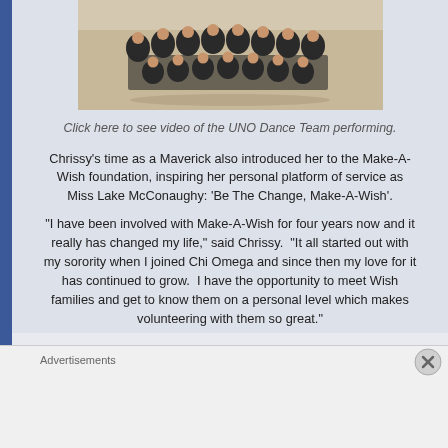[Figure (photo): Group photo of the UNO Dance Team, approximately 20 members dressed in black, posing outdoors on a sandy/light surface.]
Click here to see video of the UNO Dance Team performing.
Chrissy's time as a Maverick also introduced her to the Make-A-Wish foundation, inspiring her personal platform of service as Miss Lake McConaughy: 'Be The Change, Make-A-Wish'.
"I have been involved with Make-A-Wish for four years now and it really has changed my life," said Chrissy.  "It all started out with my sorority when I joined Chi Omega and since then my love for it has continued to grow.  I have the opportunity to meet Wish families and get to know them on a personal level which makes volunteering with them so great."
Advertisements